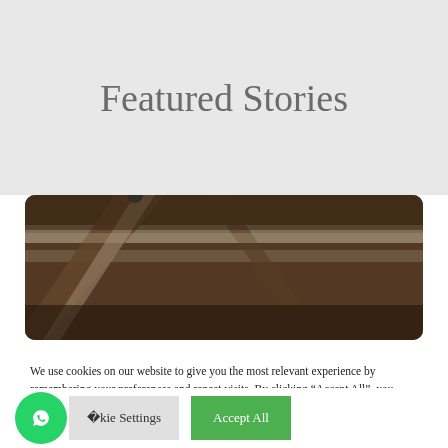Featured Stories
[Figure (photo): A close-up photograph of wooden beams or rafters, showing the underside of a wooden ceiling or roof structure with diagonal supports.]
We use cookies on our website to give you the most relevant experience by remembering your preferences and repeat visits. By clicking “Accept All”, you consent to the use of ALL the cookies. However, you may visit "Cookie Settings" to provide a controlled consent.
Cookie Settings   Accept All